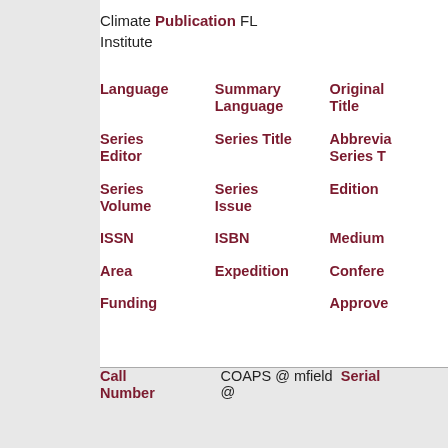Climate Publication FL Institute
| Language | Summary Language | Original Title |
| --- | --- | --- |
| Series Editor | Series Title | Abbrevia... Series T... |
| Series Volume | Series Issue | Edition |
| ISSN | ISBN | Medium |
| Area | Expedition | Confere... |
| Funding |  | Approve... |
| Call Number | COAPS @ mfield @ | Serial |
| --- | --- | --- |